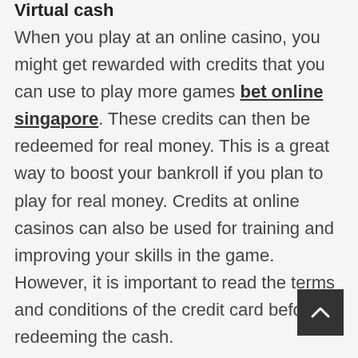Virtual cash
When you play at an online casino, you might get rewarded with credits that you can use to play more games bet online singapore. These credits can then be redeemed for real money. This is a great way to boost your bankroll if you plan to play for real money. Credits at online casinos can also be used for training and improving your skills in the game. However, it is important to read the terms and conditions of the credit card before redeeming the cash.

Most online casinos allow you to deposit and withdraw your credits. This means that